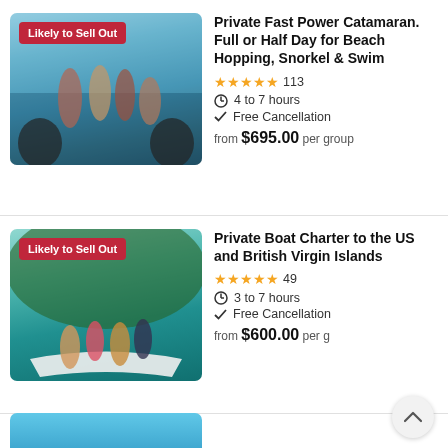[Figure (photo): Group of people on a power catamaran in turquoise water, with a 'Likely to Sell Out' badge]
Private Fast Power Catamaran. Full or Half Day for Beach Hopping, Snorkel & Swim
★★★★★ 113
4 to 7 hours
Free Cancellation
from $695.00 per group
[Figure (photo): Women jumping on a white boat near lush green island, with a 'Likely to Sell Out' badge]
Private Boat Charter to the US and British Virgin Islands
★★★★★ 49
3 to 7 hours
Free Cancellation
from $600.00 per group
[Figure (photo): Partial view of a third listing with a blue water background]